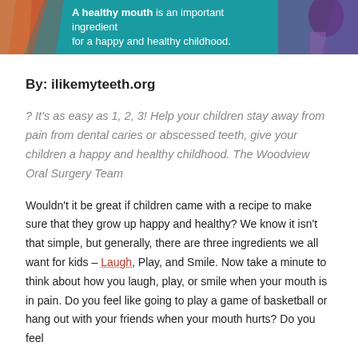[Figure (illustration): Teal banner with illustrated child figures and orange/red accent shapes on the sides. Text reads: A healthy mouth is an important ingredient for a happy and healthy childhood.]
By: ilikemyteeth.org
? It's as easy as 1, 2, 3! Help your children stay away from pain from dental caries or abscessed teeth, give your children a happy and healthy childhood. The Woodview Oral Surgery Team
Wouldn't it be great if children came with a recipe to make sure that they grow up happy and healthy? We know it isn't that simple, but generally, there are three ingredients we all want for kids – Laugh, Play, and Smile. Now take a minute to think about how you laugh, play, or smile when your mouth is in pain. Do you feel like going to play a game of basketball or hang out with your friends when your mouth hurts? Do you feel